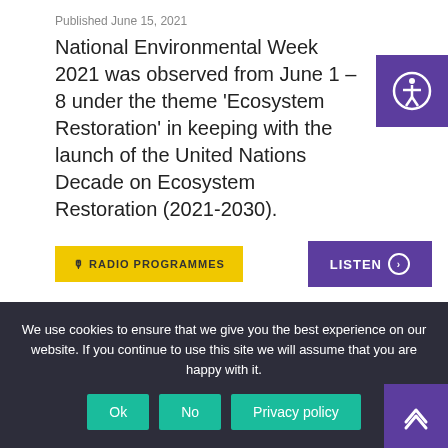Published June 15, 2021
National Environmental Week 2021 was observed from June 1 – 8 under the theme 'Ecosystem Restoration' in keeping with the launch of the United Nations Decade on Ecosystem Restoration (2021-2030).
RADIO PROGRAMMES
LISTEN
TV Get the Facts – BGLC Tertiary Education Grant June 14, 2021
Published June 14, 2021
We use cookies to ensure that we give you the best experience on our website. If you continue to use this site we will assume that you are happy with it.
Ok
No
Privacy policy